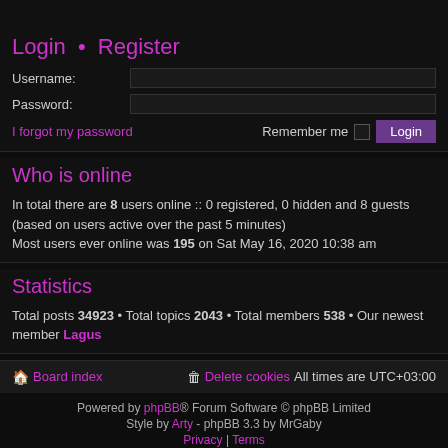Login • Register
Username:
Password:
I forgot my password
Remember me  Login
Who is online
In total there are 8 users online :: 0 registered, 0 hidden and 8 guests (based on users active over the past 5 minutes)
Most users ever online was 195 on Sat May 16, 2020 10:38 am
Statistics
Total posts 34923 • Total topics 2043 • Total members 538 • Our newest member Lagus
Board index   Delete cookies   All times are UTC+03:00
Powered by phpBB® Forum Software © phpBB Limited
Style by Arty - phpBB 3.3 by MrGaby
Privacy | Terms